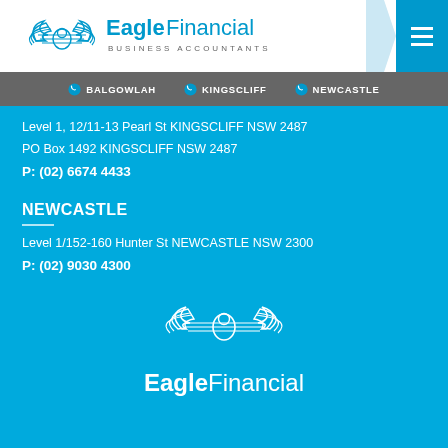[Figure (logo): Eagle Financial Business Accountants logo with winged eagle emblem in blue, with navigation hamburger menu on the right]
BALGOWLAH  KINGSCLIFF  NEWCASTLE
Level 1, 12/11-13 Pearl St KINGSCLIFF NSW 2487
PO Box 1492 KINGSCLIFF NSW 2487
P: (02) 6674 4433
NEWCASTLE
Level 1/152-160 Hunter St NEWCASTLE NSW 2300
P: (02) 9030 4300
[Figure (logo): Eagle Financial winged logo in white outline at bottom of page with text Eagle Financial below]